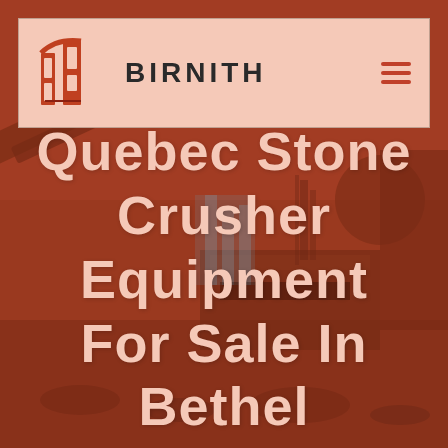[Figure (screenshot): Website screenshot of Birnith company page showing a header with logo and brand name BIRNITH, with a background photo of stone crushing equipment at a crushing station. Red-orange color overlay on the background.]
BIRNITH
Quebec Stone Crusher Equipment For Sale In Bethel Us